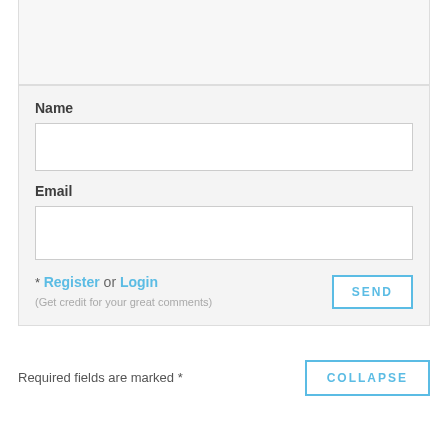[Figure (screenshot): Partial top textarea input box, cut off, gray background]
Name
[Figure (screenshot): Name input text field, white background with border]
Email
[Figure (screenshot): Email input text field, white background with border]
* Register or Login
(Get credit for your great comments)
[Figure (screenshot): SEND button with light blue border and text]
Required fields are marked *
[Figure (screenshot): COLLAPSE button with light blue border and text]